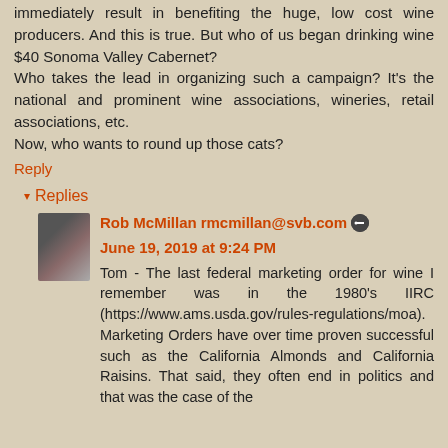immediately result in benefiting the huge, low cost wine producers. And this is true. But who of us began drinking wine $40 Sonoma Valley Cabernet?
Who takes the lead in organizing such a campaign? It's the national and prominent wine associations, wineries, retail associations, etc.
Now, who wants to round up those cats?
Reply
Replies
Rob McMillan rmcmillan@svb.com June 19, 2019 at 9:24 PM
Tom - The last federal marketing order for wine I remember was in the 1980's IIRC (https://www.ams.usda.gov/rules-regulations/moa). Marketing Orders have over time proven successful such as the California Almonds and California Raisins. That said, they often end in politics and that was the case of the